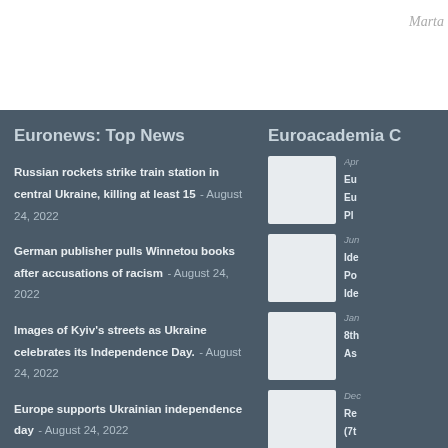Marta
Euronews: Top News
Russian rockets strike train station in central Ukraine, killing at least 15 - August 24, 2022
German publisher pulls Winnetou books after accusations of racism - August 24, 2022
Images of Kyiv's streets as Ukraine celebrates its Independence Day. - August 24, 2022
Europe supports Ukrainian independence day - August 24, 2022
Oder river fish die-off remains a mystery as new details emerge - August 24, 2022
Controversy in France over 'shocking' go-kart event in prison grounds - August 24, 2022
Euroacademia C
Apr - Eu Eu Pl
Jun - Ide Po Ide
Jan - 8th As
Dec - Re (7t